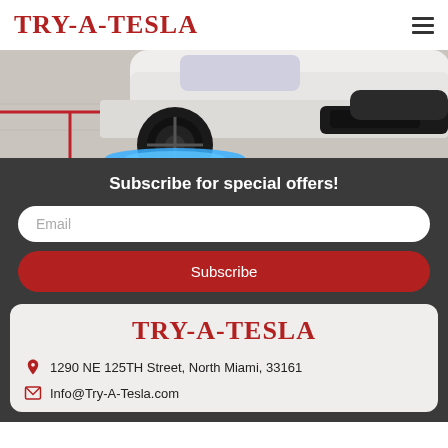TRY-A-TESLA
[Figure (photo): Close-up photo of the front wheel area of a white Tesla car with blue underglow lighting on a showroom floor with red accent lines]
Subscribe for special offers!
Email
Subscribe
TRY-A-TESLA
1290 NE 125TH Street, North Miami, 33161
Info@Try-A-Tesla.com